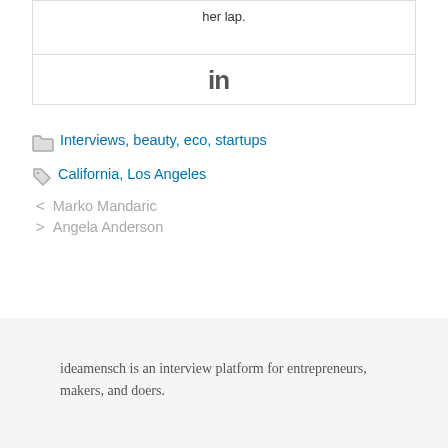her lap.
[Figure (logo): LinkedIn logo icon (bold 'in' text)]
Interviews, beauty, eco, startups
California, Los Angeles
< Marko Mandaric
> Angela Anderson
ideamensch is an interview platform for entrepreneurs, makers, and doers.